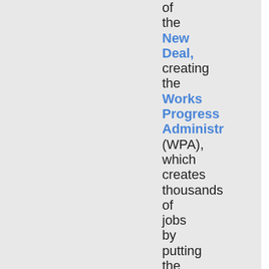of the New Deal, creating the Works Progress Administration (WPA), which creates thousands of jobs by putting the unemployed to work on public works projects, signing the Social Security Act which creates